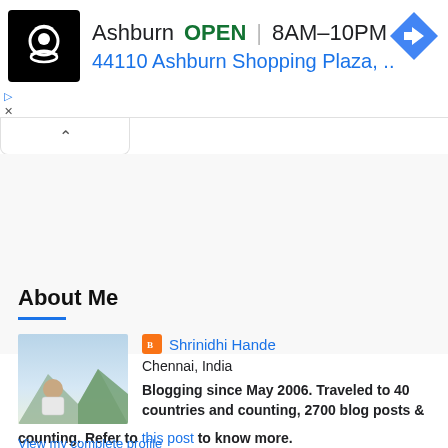[Figure (screenshot): Advertisement banner showing a restaurant/delivery service location in Ashburn. Black square logo with chef icon on left. Text reads: Ashburn OPEN 8AM-10PM with address 44110 Ashburn Shopping Plaza, .. Blue navigation arrow diamond icon on right. Play and X control buttons on left side below.]
[Figure (screenshot): Collapse/minimize tab UI element with an upward-pointing caret arrow, white background with border]
About Me
[Figure (photo): Profile photo of Shrinidhi Hande, a man outdoors with mountainous landscape background]
Shrinidhi Hande
Chennai, India
Blogging since May 2006. Traveled to 40 countries and counting, 2700 blog posts & counting. Refer to this post to know more.
View my complete profile